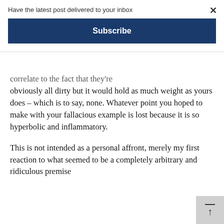Have the latest post delivered to your inbox
Subscribe
correlate to the fact that they're obviously all dirty but it would hold as much weight as yours does – which is to say, none. Whatever point you hoped to make with your fallacious example is lost because it is so hyperbolic and inflammatory.
This is not intended as a personal affront, merely my first reaction to what seemed to be a completely arbitrary and ridiculous premise